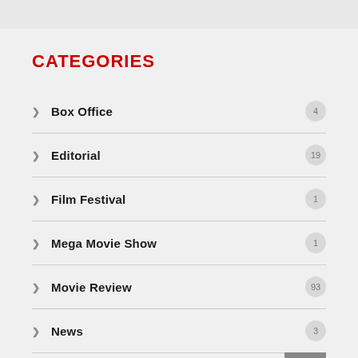CATEGORIES
Box Office 4
Editorial 19
Film Festival 1
Mega Movie Show 1
Movie Review 93
News 3
Op-Ed